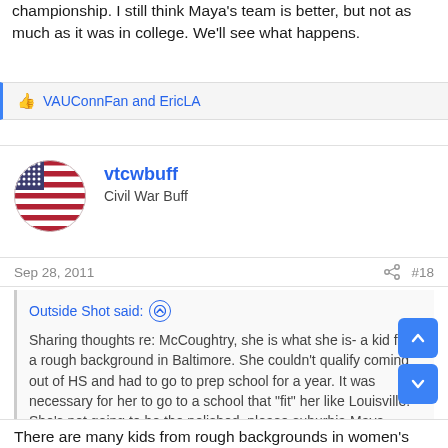championship. I still think Maya's team is better, but not as much as it was in college. We'll see what happens.
VAUConnFan and EricLA
vtcwbuff
Civil War Buff
Sep 28, 2011
#18
Outside Shot said:
Sharing thoughts re: McCoughtry, she is what she is- a kid from a rough background in Baltimore. She couldn't qualify coming out of HS and had to go to prep school for a year. It was necessary for her to go to a school that "fit" her like Louisville. She's not going to be the polished, please suburbia Maya Moore. Her rough edges aren't going to go away, but they are also part of what makes her an incredible player. She was never going to beat out Maya for National Player of the Year her senior year, but I personally thought she was the best...
Expand ...
There are many kids from rough backgrounds in women's